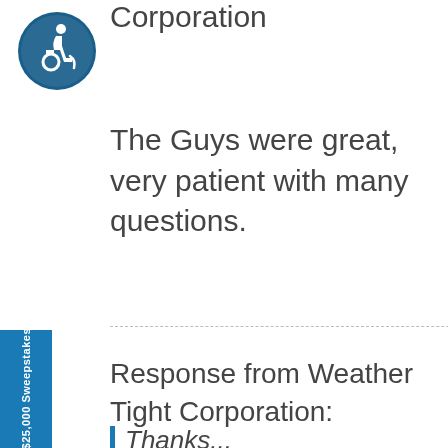[Figure (logo): Accessibility icon — white figure in wheelchair on dark blue circle background]
Corporation
The Guys were great, very patient with many questions.
Response from Weather Tight Corporation:
$25,000 Sweepstakes
Thanks...